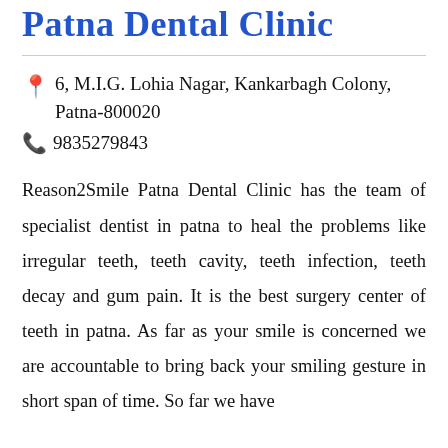Patna Dental Clinic
6, M.I.G. Lohia Nagar, Kankarbagh Colony, Patna-800020
9835279843
Reason2Smile Patna Dental Clinic has the team of specialist dentist in patna to heal the problems like irregular teeth, teeth cavity, teeth infection, teeth decay and gum pain. It is the best surgery center of teeth in patna. As far as your smile is concerned we are accountable to bring back your smiling gesture in short span of time. So far we have